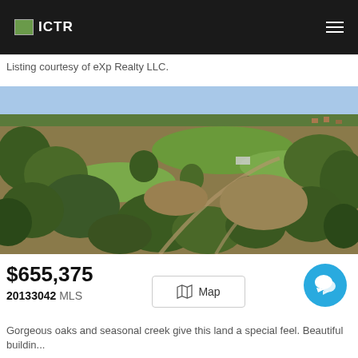ICTR
Listing courtesy of eXp Realty LLC.
[Figure (photo): Aerial drone photograph of a large land parcel with oak trees, open fields, seasonal creek area, and surrounding rural residential properties.]
$655,375
20133042 MLS
Map
Gorgeous oaks and seasonal creek give this land a special feel. Beautiful buildin...